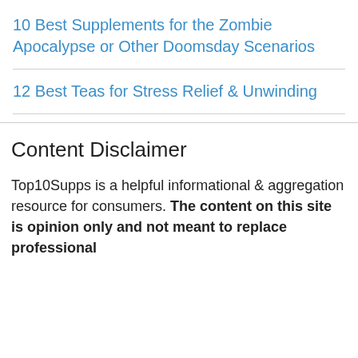10 Best Supplements for the Zombie Apocalypse or Other Doomsday Scenarios
12 Best Teas for Stress Relief & Unwinding
Content Disclaimer
Top10Supps is a helpful informational & aggregation resource for consumers. The content on this site is opinion only and not meant to replace professional